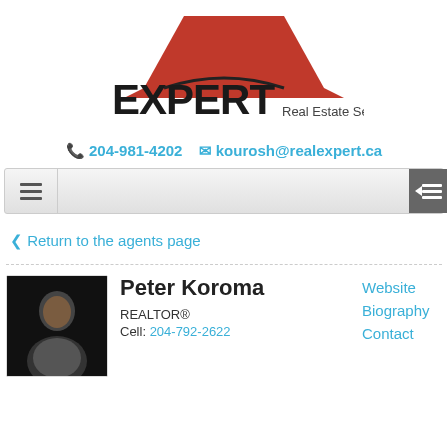[Figure (logo): Expert Real Estate Services logo with red roof/triangle shape above bold black EXPERT text and 'Real Estate Services' in dark gray]
📞 204-981-4202  ✉ kourosh@realexpert.ca
[Figure (screenshot): Navigation bar with hamburger menu icon on left and sidebar toggle button on right]
< Return to the agents page
Peter Koroma
REALTOR®
Cell: 204-792-2622
Website
Biography
Contact